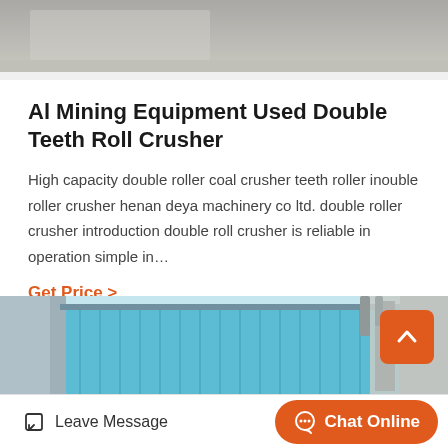[Figure (photo): Partial view of industrial surface/equipment, grey tones]
Al Mining Equipment Used Double Teeth Roll Crusher
High capacity double roller coal crusher teeth roller inouble roller crusher henan deya machinery co ltd. double roller crusher introduction double roll crusher is reliable in operation simple in…
Get Price >
[Figure (photo): Industrial building with blue cladding panels and structural elements, light blue sky background]
Leave Message  Chat Online